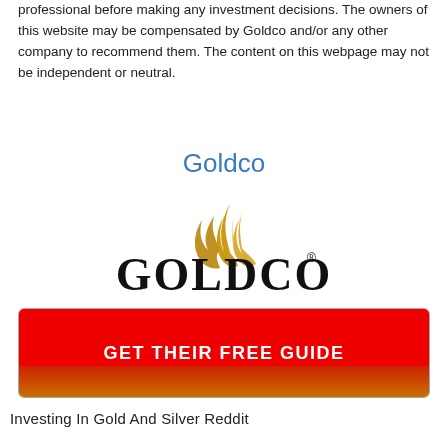professional before making any investment decisions. The owners of this website may be compensated by Goldco and/or any other company to recommend them. The content on this webpage may not be independent or neutral.
Goldco
[Figure (logo): Goldco logo with golden flame/feather swoosh above the word GOLDCO in bold serif font with registered trademark symbol]
[Figure (other): Red button with gradient bottom reading GET THEIR FREE GUIDE in bold white uppercase text]
Investing In Gold And Silver Reddit